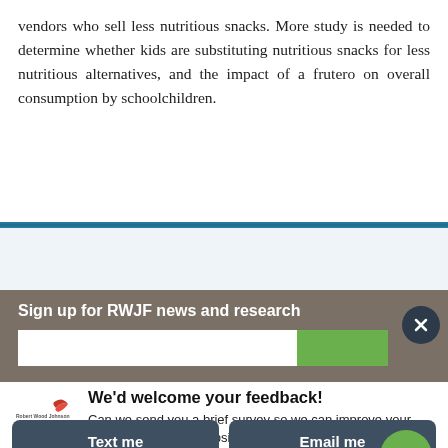vendors who sell less nutritious snacks. More study is needed to determine whether kids are substituting nutritious snacks for less nutritious alternatives, and the impact of a frutero on overall consumption by schoolchildren.
[Figure (screenshot): Website UI element: blue horizontal divider bar, 'Read article (Web) →' link on light blue background, green circular scroll-up arrow button, gray signup bar with 'Sign up for RWJF news and research' text and input field, close button]
[Figure (screenshot): Feedback modal with Robert Wood Johnson Foundation logo, title 'We'd welcome your feedback!', body text 'Can we send you a brief survey so we can improve your experience on this website?', two buttons: 'Text me' and 'Email me']